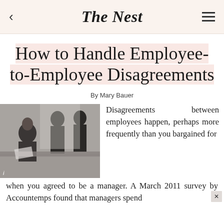The Nest
How to Handle Employee-to-Employee Disagreements
By Mary Bauer
[Figure (photo): Black and white photo of employees at a meeting table in discussion]
Disagreements between employees happen, perhaps more frequently than you bargained for when you agreed to be a manager. A March 2011 survey by Accountemps found that managers spend